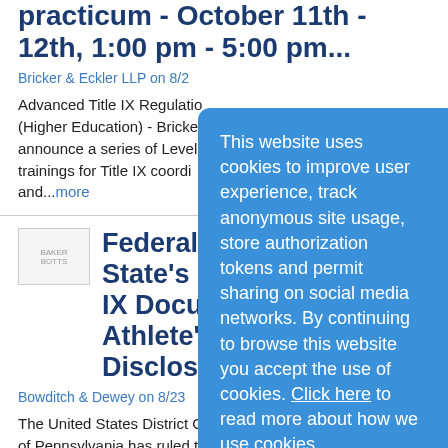practicum - October 11th - 12th, 1:00 pm - 5:00 pm...
Bricker & Eckler LLP on 8/2...
Advanced Title IX Regulations (Higher Education) - Bricker... announce a series of Level 3... trainings for Title IX coordi... and...more
Federal Court Grants State's Motion to... IX Documents, S... Athlete's Call fo... Disclosure
Bowditch & Dewey on 8/23...
The United States District C... of Pennsylvania has ruled th... regarding alleged hazing in the Penn State football program will remain confidential. In January 2020,
This website uses cookies to improve user experience, track anonymous site usage, store authorization tokens and permit sharing on social media networks. By continuing to browse this website you accept the use of cookies. Click here to read more about how we use cookies.
Continue